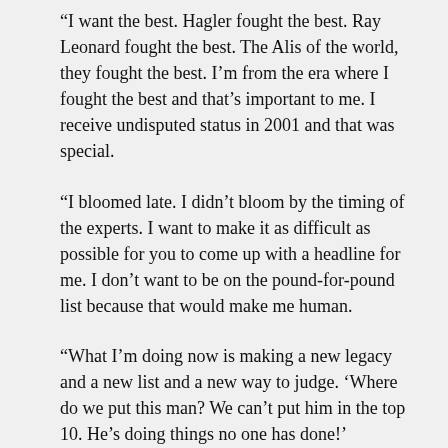“I want the best. Hagler fought the best. Ray Leonard fought the best. The Alis of the world, they fought the best. I’m from the era where I fought the best and that’s important to me. I receive undisputed status in 2001 and that was special.
“I bloomed late. I didn’t bloom by the timing of the experts. I want to make it as difficult as possible for you to come up with a headline for me. I don’t want to be on the pound-for-pound list because that would make me human.
“What I’m doing now is making a new legacy and a new list and a new way to judge. ‘Where do we put this man? We can’t put him in the top 10. He’s doing things no one has done!’
“Enjoy this while you can and come see it. Don’t worry about when or how I’m going to